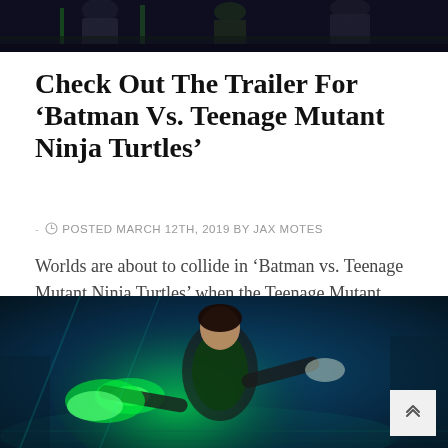[Figure (screenshot): Top portion of animated image showing dark-costumed figures (Teenage Mutant Ninja Turtles and Batman characters) against a dark background with green accents]
Check Out The Trailer For ‘Batman Vs. Teenage Mutant Ninja Turtles’
- ◌ POSTED MARCH 12TH, 2019 BY JAX MOTES
Worlds are about to collide in ‘Batman vs. Teenage Mutant Ninja Turtles’ when the Teenage Mutant Ninja Turtles head to Gotham City on…
[Figure (screenshot): Animated screenshot showing a female character in a green-glowing martial arts pose against a blue and teal background with green energy effects]